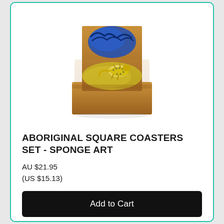[Figure (photo): Wooden Aboriginal square coasters set with sponge art decoration, showing colorful blue and yellow painted coasters in a wooden holder]
ABORIGINAL SQUARE COASTERS SET - SPONGE ART
AU $21.95
(US $15.13)
Add to Cart